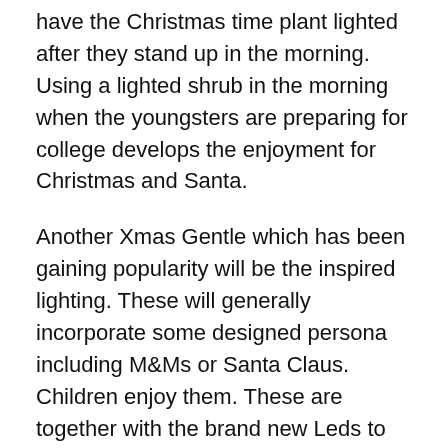have the Christmas time plant lighted after they stand up in the morning. Using a lighted shrub in the morning when the youngsters are preparing for college develops the enjoyment for Christmas and Santa.
Another Xmas Gentle which has been gaining popularity will be the inspired lighting. These will generally incorporate some designed persona including M&Ms or Santa Claus. Children enjoy them. These are together with the brand new Leds to provide appeal into a Christmas time tree plus they turn up like a lighted…